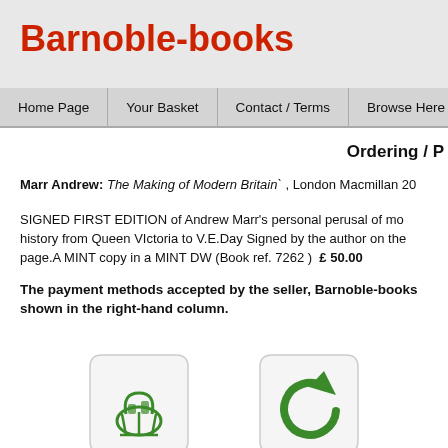Barnoble-books
Home Page | Your Basket | Contact / Terms | Browse Here | or search
Ordering / P
Marr Andrew: The Making of Modern Britain` , London Macmillan 20
SIGNED FIRST EDITION of Andrew Marr's personal perusal of modern history from Queen VIctoria to V.E.Day Signed by the author on the page.A MINT copy in a MINT DW (Book ref. 7262 )  £ 50.00
The payment methods accepted by the seller, Barnoble-books shown in the right-hand column.
[Figure (illustration): Shopping basket icon button with label 'Click here to order']
[Figure (illustration): Back arrow icon button with label 'Back to search']